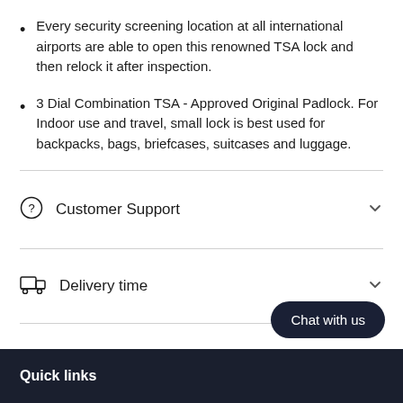Every security screening location at all international airports are able to open this renowned TSA lock and then relock it after inspection.
3 Dial Combination TSA - Approved Original Padlock. For Indoor use and travel, small lock is best used for backpacks, bags, briefcases, suitcases and luggage.
Customer Support
Delivery time
Return Policy
Chat with us
Quick links